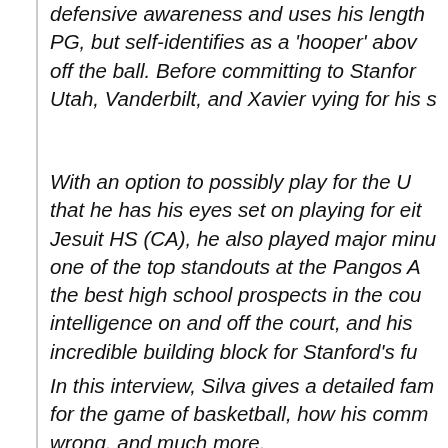defensive awareness and uses his length as a PG, but self-identifies as a 'hooper' above off the ball. Before committing to Stanford, Utah, Vanderbilt, and Xavier vying for his c
With an option to possibly play for the U that he has his eyes set on playing for eit Jesuit HS (CA), he also played major minu one of the top standouts at the Pangos A the best high school prospects in the cou intelligence on and off the court, and his incredible building block for Stanford's fu
In this interview, Silva gives a detailed fam for the game of basketball, how his comn wrong, and much more.